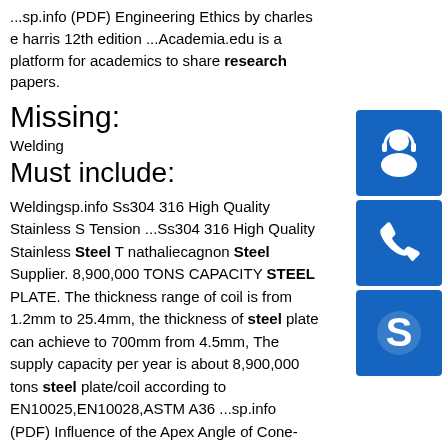...sp.info (PDF) Engineering Ethics by charles e harris 12th edition ...Academia.edu is a platform for academics to share research papers.
Missing:
Welding
Must include:
Weldingsp.info Ss304 316 High Quality Stainless S Tension ...Ss304 316 High Quality Stainless Steel T nathaliecagnon Steel Supplier. 8,900,000 TONS CAPACITY STEEL PLATE. The thickness range of coil is from 1.2mm to 25.4mm, the thickness of steel plate can achieve to 700mm from 4.5mm, The supply capacity per year is about 8,900,000 tons steel plate/coil according to EN10025,EN10028,ASTM A36 ...sp.info (PDF) Influence of the Apex Angle of Cone-Shaped Tubes on ...exit of the wooden duct by a hotwire anem ometer with an . accuracy of + ... the chemical properties as well as the physical
[Figure (illustration): Blue square icon with a white headset/customer support person silhouette]
[Figure (illustration): Blue square icon with a white telephone handset silhouette]
[Figure (illustration): Blue square icon with a white Skype logo (S letter in circle)]